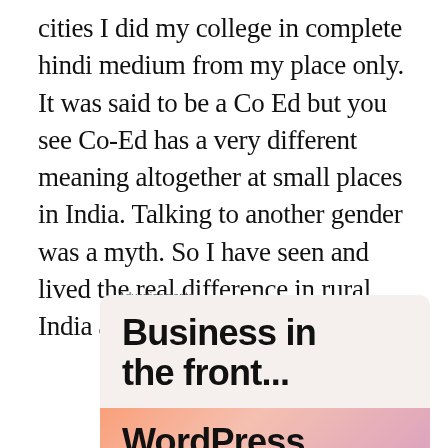cities I did my college in complete hindi medium from my place only. It was said to be a Co Ed but you see Co-Ed has a very different meaning altogether at small places in India. Talking to another gender was a myth. So I have seen and lived the real difference in rural India and urban India too.
Advertisements
[Figure (other): Advertisement banner showing 'Business in the front...' text on a light beige background, with a WordPress branded banner below on a gradient orange-pink background.]